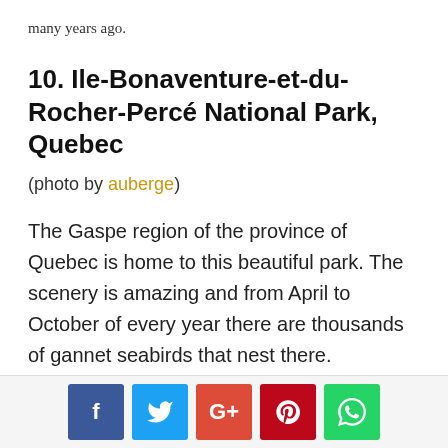many years ago.
10. Ile-Bonaventure-et-du-Rocher-Percé National Park, Quebec
(photo by auberge)
The Gaspe region of the province of Quebec is home to this beautiful park. The scenery is amazing and from April to October of every year there are thousands of gannet seabirds that nest there.
[Figure (other): Social media share buttons: Facebook, Twitter, Google+, Pinterest, WhatsApp]